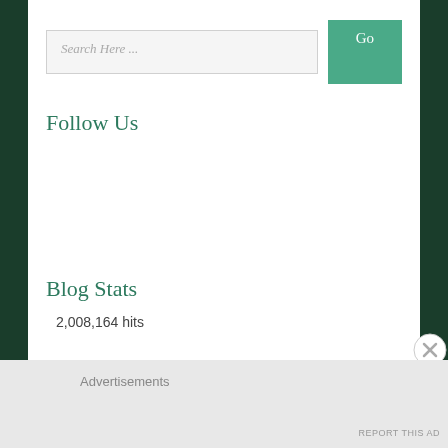Search Here ...
Go
Follow Us
Blog Stats
2,008,164 hits
Advertisements
REPORT THIS AD